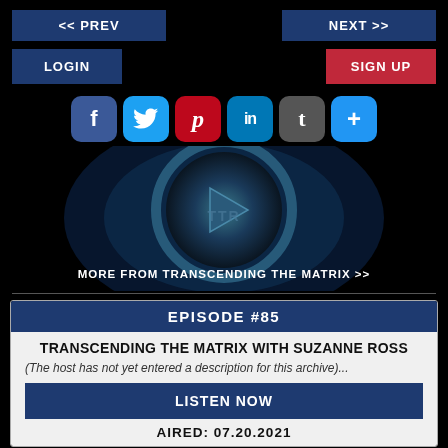<< PREV
NEXT >>
LOGIN
SIGN UP
[Figure (screenshot): Social sharing icons row: Facebook, Twitter, Pinterest, LinkedIn, Tumblr, More (+)]
[Figure (screenshot): Circular media player button with play triangle and TTR logo text, with swirling blue/dark background]
MORE FROM TRANSCENDING THE MATRIX >>
EPISODE #85
TRANSCENDING THE MATRIX WITH SUZANNE ROSS
(The host has not yet entered a description for this archive)...
LISTEN NOW
AIRED: 07.20.2021